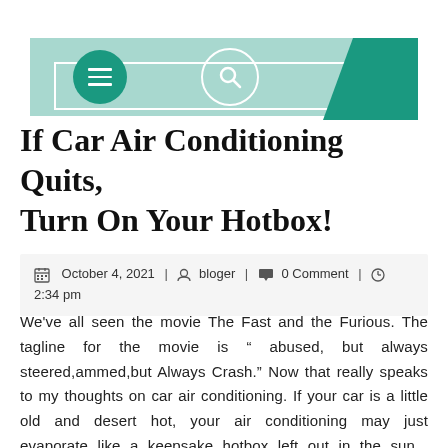Navigation header with menu and search buttons
If Car Air Conditioning Quits, Turn On Your Hotbox!
October 4, 2021 | bloger | 0 Comment | 2:34 pm
We've all seen the movie The Fast and the Furious. The tagline for the movie is " abused, but always steered,ammed,but Always Crash." Now that really speaks to my thoughts on car air conditioning. If your car is a little old and desert hot, your air conditioning may just evaporate like a keepsake hotbox left out in the sun... leaving you cool in heated Cadillac playpen